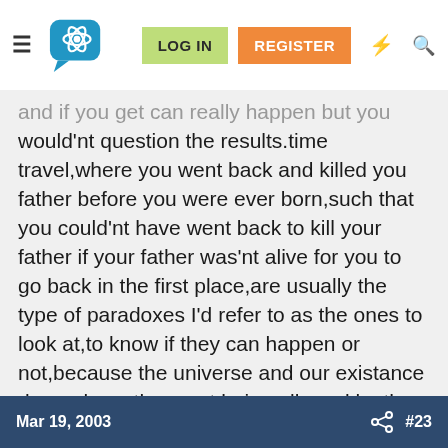Navigation bar with hamburger menu, brain/atom logo, LOG IN, REGISTER buttons, lightning and search icons
and if you get can really happen but you would'nt question the results.time travel,where you went back and killed you father before you were ever born,such that you could'nt have went back to kill your father if your father was'nt alive for you to go back in the first place,are usually the type of paradoxes I'd refer to as the ones to look at,to know if they can happen or not,because the universe and our existance depends on them not being allowed by the laws of physics.anything else really does matter,other than there fun to create and think about.
Mar 19, 2003   #23